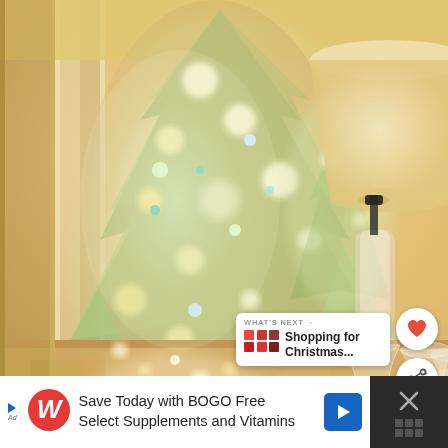[Figure (photo): Indoor holiday scene with a decorated white/flocked Christmas tree covered in twinkling lights and small ornaments, glass lamp with cream shade on the right, crystal glassware on a table surface, warm golden ambient lighting, reflection of additional trees visible in background]
WHAT'S NEXT → Shopping for Christmas...
Save Today with BOGO Free Select Supplements and Vitamins